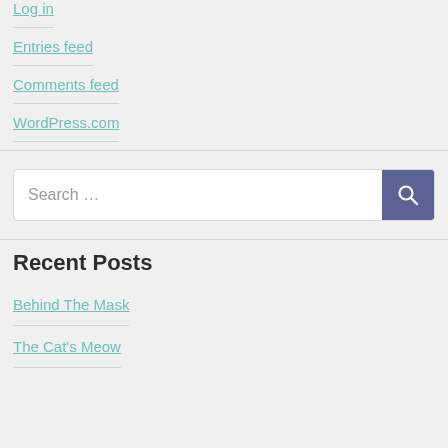Log in
Entries feed
Comments feed
WordPress.com
Search ...
Recent Posts
Behind The Mask
The Cat's Meow